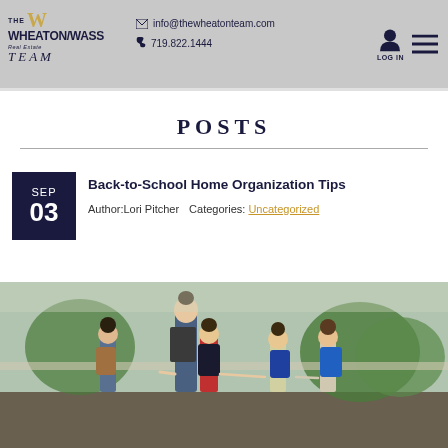THE WHEATON/WASS Real Estate TEAM | info@thewheatonteam.com | 719.822.1444 | LOG IN
POSTS
Back-to-School Home Organization Tips
Author: Lori Pitcher   Categories: Uncategorized
[Figure (photo): A woman and several children wearing backpacks walking together, viewed from behind, on their way to school.]